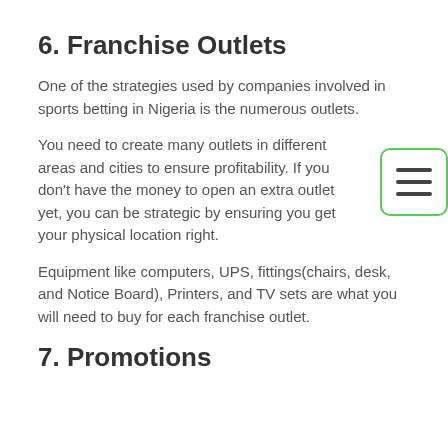6. Franchise Outlets
One of the strategies used by companies involved in sports betting in Nigeria is the numerous outlets.
You need to create many outlets in different areas and cities to ensure profitability. If you don't have the money to open an extra outlet yet, you can be strategic by ensuring you get your physical location right.
Equipment like computers, UPS, fittings(chairs, desk, and Notice Board), Printers, and TV sets are what you will need to buy for each franchise outlet.
7. Promotions